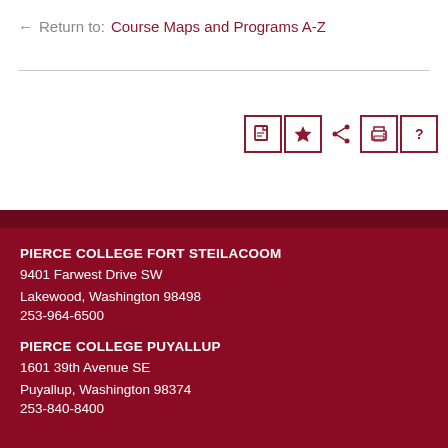← Return to: Course Maps and Programs A-Z
[Figure (other): Toolbar with icons: document, star, share, print, help — all in dark red on white with dark red border]
PIERCE COLLEGE FORT STEILACOOM
9401 Farwest Drive SW
Lakewood, Washington 98498
253-964-6500

PIERCE COLLEGE PUYALLUP
1601 39th Avenue SE
Puyallup, Washington 98374
253-840-8400